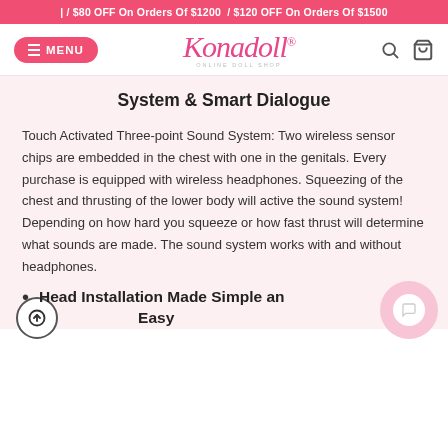/ $80 OFF On Orders Of $1200  / $120 OFF On Orders Of $1500
[Figure (logo): Konadoll Online Doll Shop logo with pink cursive text and menu/search/cart icons]
System & Smart Dialogue
Touch Activated Three-point Sound System: Two wireless sensor chips are embedded in the chest with one in the genitals. Every purchase is equipped with wireless headphones. Squeezing of the chest and thrusting of the lower body will active the sound system! Depending on how hard you squeeze or how fast thrust will determine what sounds are made. The sound system works with and without headphones.
Head Installation Made Simple and Easy